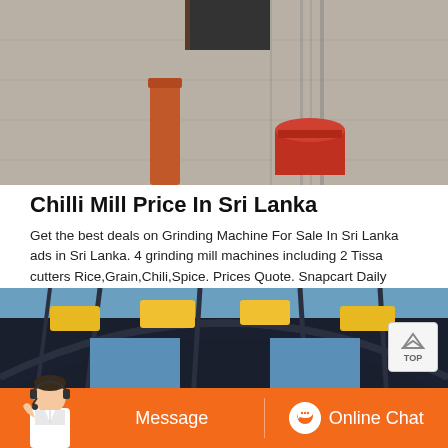[Figure (photo): Top photo showing concrete wall with orange/red cylindrical objects and drum, industrial setting]
Chilli Mill Price In Sri Lanka
Get the best deals on Grinding Machine For Sale In Sri Lanka ads in Sri Lanka. 4 grinding mill machines including 2 Tissa cutters Rice,Grain,Chili,Spice. Prices Quote. Snapcart Daily Vegetable Prices In Supermarkets Of Sri Lanka. Vegetable Prices in Supermarkets of Sri Lanka Per 1Kg Last updated on 20190802.
[Figure (photo): Bottom photo showing industrial warehouse interior with steel arched roof structure, yellow ceiling lights, and blue sky visible through windows]
[Figure (other): Bottom chat bar with person avatar, Message button, and Online Chat button in orange]